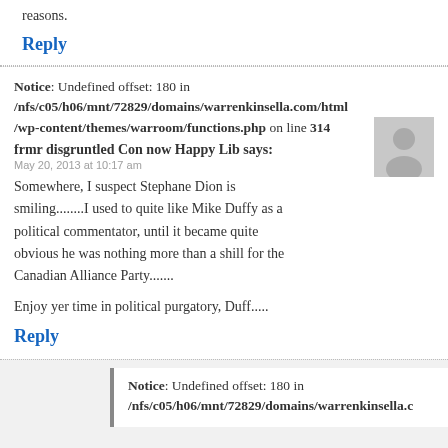reasons.
Reply
Notice: Undefined offset: 180 in /nfs/c05/h06/mnt/72829/domains/warrenkinsella.com/html/wp-content/themes/warroom/functions.php on line 314
frmr disgruntled Con now Happy Lib says:
May 20, 2013 at 10:17 am
Somewhere, I suspect Stephane Dion is smiling........I used to quite like Mike Duffy as a political commentator, until it became quite obvious he was nothing more than a shill for the Canadian Alliance Party.......
Enjoy yer time in political purgatory, Duff.....
Reply
Notice: Undefined offset: 180 in /nfs/c05/h06/mnt/72829/domains/warrenkinsella.c